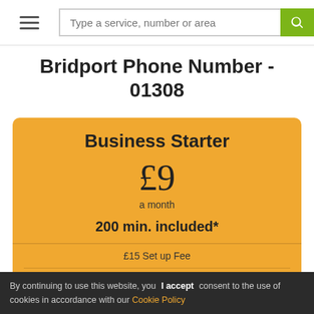Type a service, number or area
Bridport Phone Number - 01308
Business Starter
£9
a month
200 min. included*
£15 Set up Fee
Online Management
Divert on Busy
Voicemail
Call Whisper
By continuing to use this website, you consent to the use of cookies in accordance with our Cookie Policy